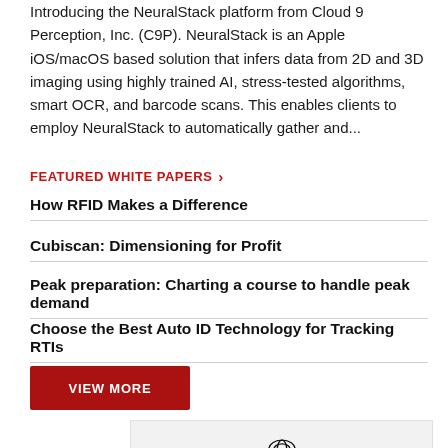Introducing the NeuralStack platform from Cloud 9 Perception, Inc. (C9P). NeuralStack is an Apple iOS/macOS based solution that infers data from 2D and 3D imaging using highly trained AI, stress-tested algorithms, smart OCR, and barcode scans. This enables clients to employ NeuralStack to automatically gather and...
FEATURED WHITE PAPERS
How RFID Makes a Difference
Cubiscan: Dimensioning for Profit
Peak preparation: Charting a course to handle peak demand
Choose the Best Auto ID Technology for Tracking RTIs
VIEW MORE
[Figure (logo): Toyota Material Handling logo with circular emblem]